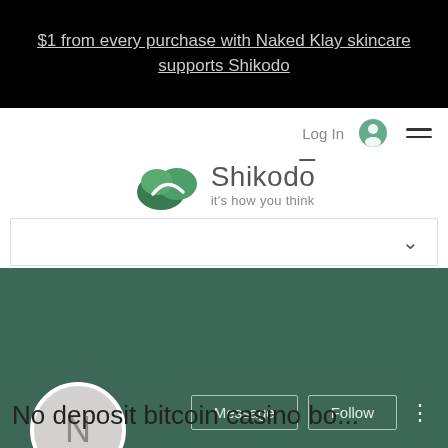$1 from every purchase with Naked Klay skincare supports Shikodo
Log In
[Figure (logo): Shikodo logo — green cloud shape with swirl, text 'Shikodō it's how you think']
No deposit bitcoin casino bo...